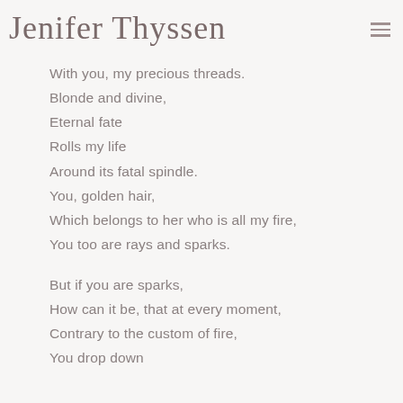Jenifer Thyssen
With you, my precious threads.
Blonde and divine,
Eternal fate
Rolls my life
Around its fatal spindle.
You, golden hair,
Which belongs to her who is all my fire,
You too are rays and sparks.

But if you are sparks,
How can it be, that at every moment,
Contrary to the custom of fire,
You drop down